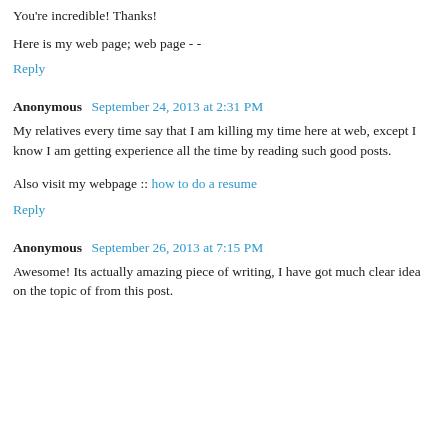You're incredible! Thanks!
Here is my web page; web page - -
Reply
Anonymous  September 24, 2013 at 2:31 PM
My relatives every time say that I am killing my time here at web, except I know I am getting experience all the time by reading such good posts.
Also visit my webpage :: how to do a resume
Reply
Anonymous  September 26, 2013 at 7:15 PM
Awesome! Its actually amazing piece of writing, I have got much clear idea on the topic of from this post.